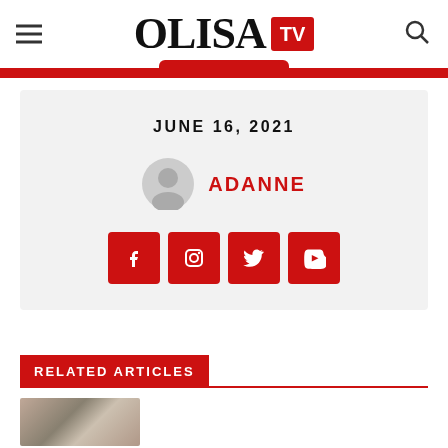OLISA TV
JUNE 16, 2021
ADANNE
[Figure (other): Social media icons: Facebook, Instagram, Twitter, YouTube]
RELATED ARTICLES
[Figure (photo): Thumbnail image partially visible at bottom]